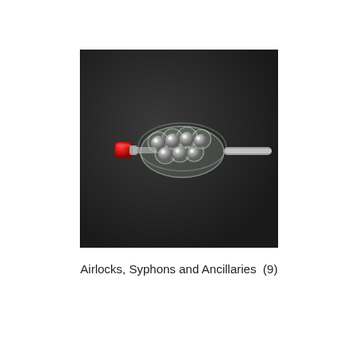[Figure (photo): A glass airlock or bubbler device with multiple spherical glass chambers and a red plastic cap/stopper on the left end, photographed against a dark charcoal/black background.]
Airlocks, Syphons and Ancillaries  (9)